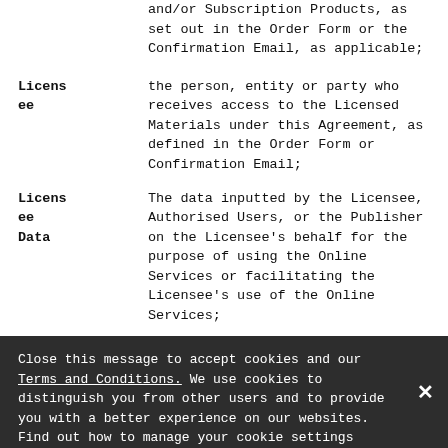and/or Subscription Products, as set out in the Order Form or the Confirmation Email, as applicable;
Licensee — the person, entity or party who receives access to the Licensed Materials under this Agreement, as defined in the Order Form or Confirmation Email;
Licensee Data — The data inputted by the Licensee, Authorised Users, or the Publisher on the Licensee's behalf for the purpose of using the Online Services or facilitating the Licensee's use of the Online Services;
Online Service — the electronic and/or digital delivery method or platform used
Close this message to accept cookies and our Terms and Conditions. We use cookies to distinguish you from other users and to provide you with a better experience on our websites. Find out how to manage your cookie settings here.